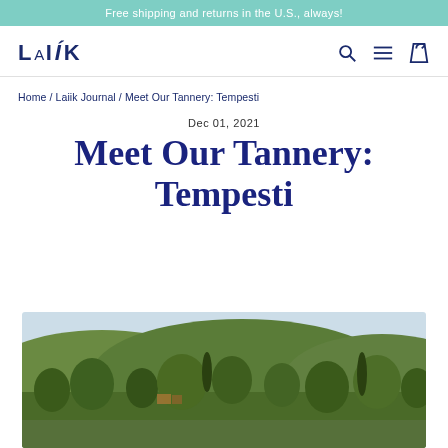Free shipping and returns in the U.S., always!
[Figure (logo): Laiik brand logo in dark navy blue with stylized typography]
Home / Laiik Journal / Meet Our Tannery: Tempesti
Dec 01, 2021
Meet Our Tannery: Tempesti
[Figure (photo): Landscape photo showing rolling green hills with trees and vegetation, Tuscan countryside scene]